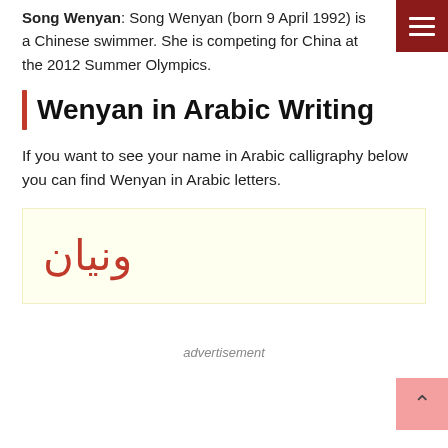Song Wenyan: Song Wenyan (born 9 April 1992) is a Chinese swimmer. She is competing for China at the 2012 Summer Olympics.
Wenyan in Arabic Writing
If you want to see your name in Arabic calligraphy below you can find Wenyan in Arabic letters.
[Figure (other): Light yellow box containing Arabic script text 'ونيان' in orange/red color, representing the name Wenyan written in Arabic letters.]
advertisement